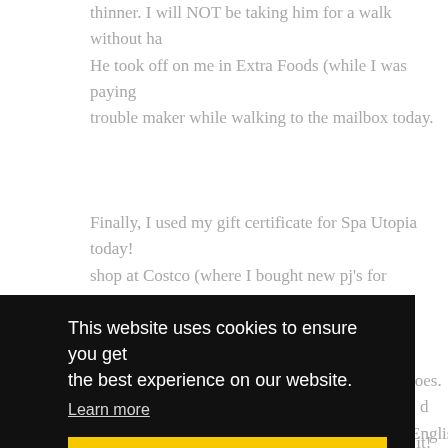Although he is very funny and enjoyable, I don't feel he made me thinner. I will NOT be taking him for a walk without ha... He took off on me in Extra Foods (while I was paying...) trouble maker while walking to the mailbox today.
Finally, I used my gift certificate for Spa Utopia today! shop at Costco (where I bought new pj's for myself!) a... It was great and I wish I could have one once a week... toes. I d... English ... me. It wa... hen she... ound ver... r honeym... had AMA... massages/wraps etc. I would really recommend it!
This website uses cookies to ensure you get the best experience on our website.
Learn more
Got it!